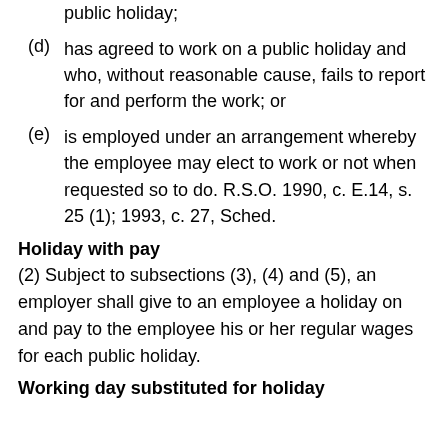public holiday;
(d) has agreed to work on a public holiday and who, without reasonable cause, fails to report for and perform the work; or
(e) is employed under an arrangement whereby the employee may elect to work or not when requested so to do. R.S.O. 1990, c. E.14, s. 25 (1); 1993, c. 27, Sched.
Holiday with pay
(2) Subject to subsections (3), (4) and (5), an employer shall give to an employee a holiday on and pay to the employee his or her regular wages for each public holiday.
Working day substituted for holiday